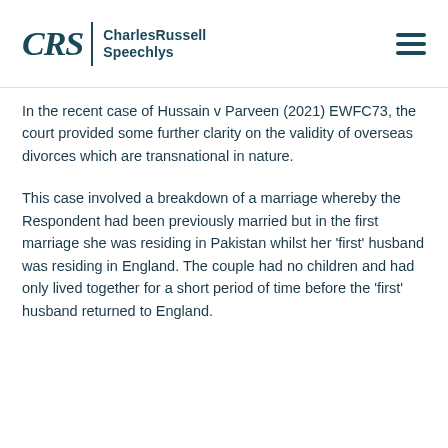CRS | CharlesRussell Speechlys
In the recent case of Hussain v Parveen (2021) EWFC73, the court provided some further clarity on the validity of overseas divorces which are transnational in nature.
This case involved a breakdown of a marriage whereby the Respondent had been previously married but in the first marriage she was residing in Pakistan whilst her 'first' husband was residing in England. The couple had no children and had only lived together for a short period of time before the 'first' husband returned to England.